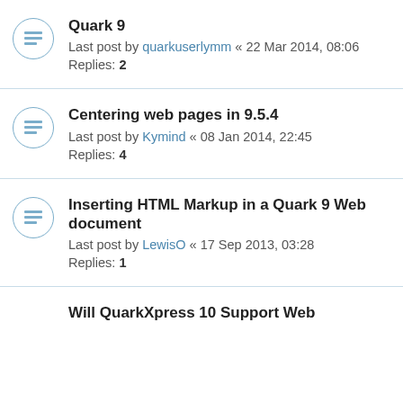Quark 9
Last post by quarkuserlymm « 22 Mar 2014, 08:06
Replies: 2
Centering web pages in 9.5.4
Last post by Kymind « 08 Jan 2014, 22:45
Replies: 4
Inserting HTML Markup in a Quark 9 Web document
Last post by LewisO « 17 Sep 2013, 03:28
Replies: 1
Will QuarkXpress 10 Support Web